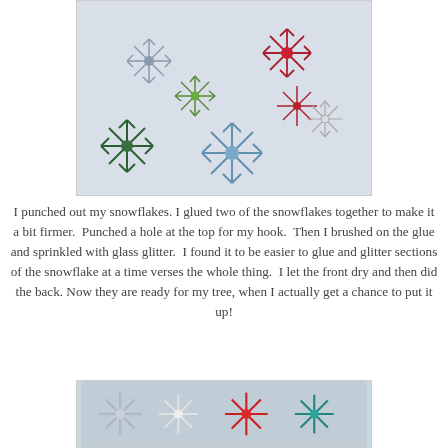[Figure (photo): Several decorative paper snowflakes in various colors: grey, green, dark red/cranberry, light blue, dark green, and white/silver, arranged on a light blue-grey background.]
I punched out my snowflakes. I glued two of the snowflakes together to make it a bit firmer.  Punched a hole at the top for my hook.  Then I brushed on the glue and sprinkled with glass glitter.  I found it to be easier to glue and glitter sections of the snowflake at a time verses the whole thing.  I let the front dry and then did the back. Now they are ready for my tree, when I actually get a chance to put it up!
[Figure (photo): A row of glittery snowflake ornaments in silver, white, red, and teal/green colors, partially shown at the bottom of the page.]